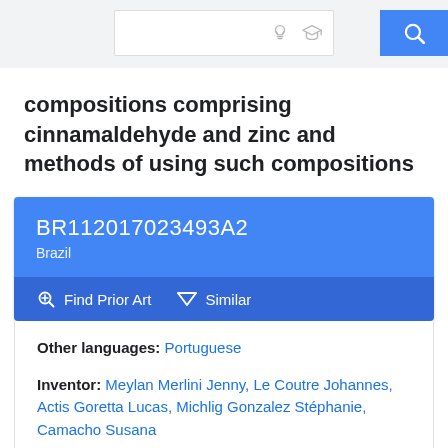compositions comprising cinnamaldehyde and zinc and methods of using such compositions
BR112017023493A2
Brazil
Find Prior Art   Similar
Other languages: Portuguese
Inventor: Meylan Merlini Jenny, Le Coutre Johannes, Actis Goretta Lucas, Michlig Gonzalez Stéphanie, Camacho Susana
Worldwide applications